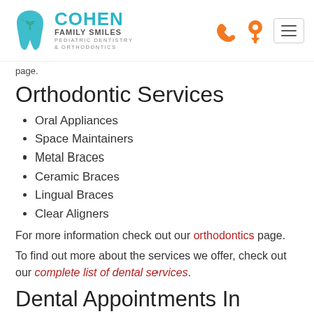[Figure (logo): Cohen Family Smiles Pediatric Dentistry & Orthodontics logo with teal tooth icon and text]
page.
Orthodontic Services
Oral Appliances
Space Maintainers
Metal Braces
Ceramic Braces
Lingual Braces
Clear Aligners
For more information check out our orthodontics page.
To find out more about the services we offer, check out our complete list of dental services.
Dental Appointments In Millwood
Contact us for more information, or if you have